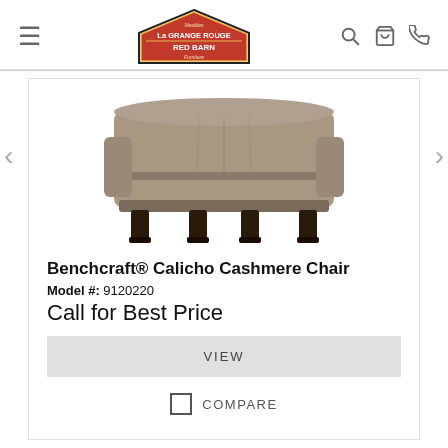La Grange Rouge Red Barn Furniture
[Figure (photo): Benchcraft Calicho Cashmere Chair product image showing an upholstered chair in taupe/grey fabric with dark wood legs, viewed from slightly above.]
Benchcraft® Calicho Cashmere Chair
Model #: 9120220
Call for Best Price
VIEW
COMPARE